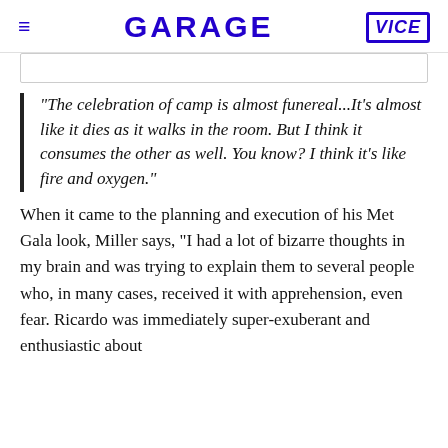GARAGE  VICE
[Figure (other): Partial image stub at top of content area]
"The celebration of camp is almost funereal...It's almost like it dies as it walks in the room. But I think it consumes the other as well. You know? I think it's like fire and oxygen."
When it came to the planning and execution of his Met Gala look, Miller says, "I had a lot of bizarre thoughts in my brain and was trying to explain them to several people who, in many cases, received it with apprehension, even fear. Ricardo was immediately super-exuberant and enthusiastic about